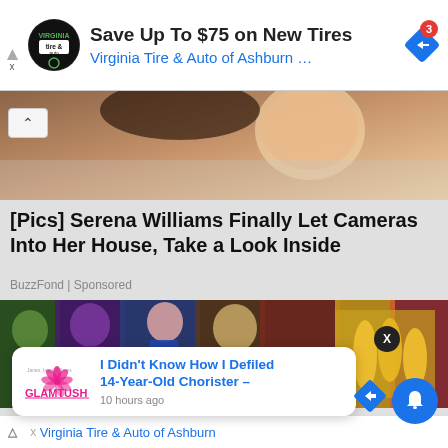[Figure (screenshot): Mobile web browser screenshot showing ads, article thumbnails, and a push notification popup]
Save Up To $75 on New Tires
Virginia Tire & Auto of Ashburn …
[Figure (photo): Photo of a woman kissing a baby on the forehead]
[Pics] Serena Williams Finally Let Cameras Into Her House, Take a Look Inside
BuzzFond | Sponsored
[Figure (photo): Collage of animated video game characters]
I Didn't Know How I Defiled 14-Year-Old Chorister –
10 hours ago
Virginia Tire & Auto of Ashburn